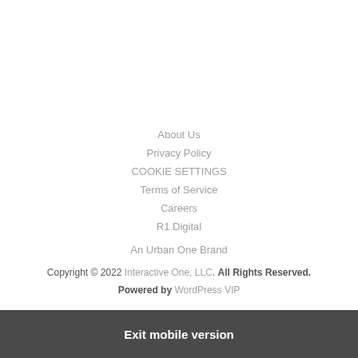About Us
Privacy Policy
COOKIE SETTINGS
Terms of Service
Careers
R1 Digital
An Urban One Brand
Copyright © 2022 Interactive One, LLC. All Rights Reserved.
Powered by WordPress VIP
Exit mobile version